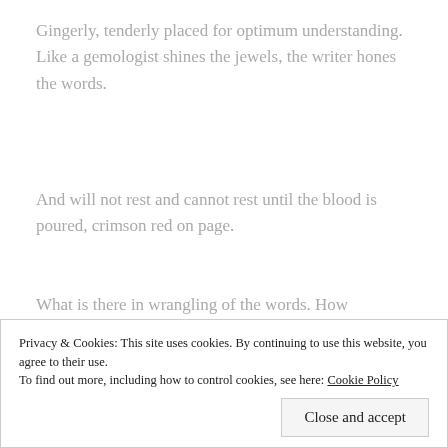Gingerly, tenderly placed for optimum understanding. Like a gemologist shines the jewels, the writer hones the words.
And will not rest and cannot rest until the blood is poured, crimson red on page.
What is there in wrangling of the words. How
Privacy & Cookies: This site uses cookies. By continuing to use this website, you agree to their use.
To find out more, including how to control cookies, see here: Cookie Policy
Close and accept
flat out on the mat.